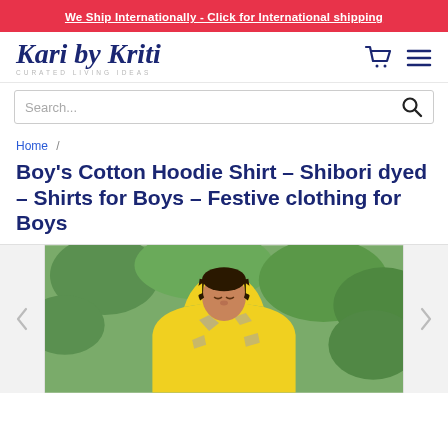We Ship Internationally - Click for International shipping
[Figure (logo): Kari by Kriti logo with cursive text and tagline CURATED LIVING IDEAS]
Search...
Home /
Boy's Cotton Hoodie Shirt - Shibori dyed - Shirts for Boys - Festive clothing for Boys
[Figure (photo): A young boy wearing a yellow and grey shibori-dyed cotton hoodie shirt, standing outdoors with green foliage in the background, looking down]